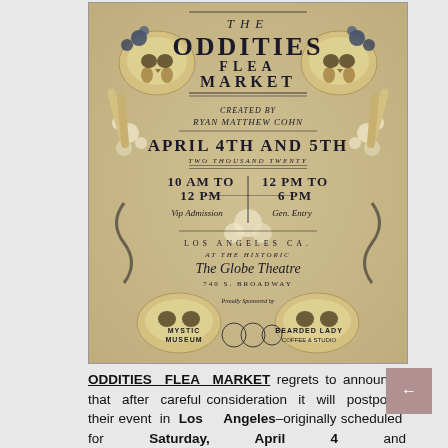[Figure (illustration): Decorative event poster for 'The Oddities Flea Market' featuring skull illustrations, floral decorations, and ornate typography. Shows event dates April 4th and 5th, times 10AM-12PM and 12PM-6PM, location Los Angeles CA at The Globe Theatre, 740 S. Broadway. Created by Ryan Matthew Cohn. Sponsored by Mystic Museum and Bearded Lady.]
ODDITIES FLEA MARKET regrets to announce that after careful consideration it will postpone their event in Los Angeles–originally scheduled for Saturday, April 4 and Sunday, April 5 at Globe Theatre, due